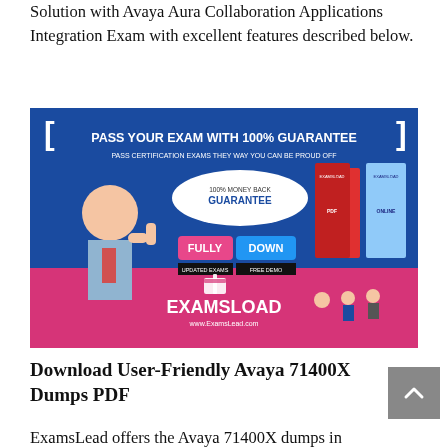Solution with Avaya Aura Collaboration Applications Integration Exam with excellent features described below.
[Figure (illustration): ExamsLead promotional banner with blue and pink background. Text reads: PASS YOUR EXAM WITH 100% GUARANTEE. PASS CERTIFICATION EXAMS THEY WAY YOU CAN BE PROUD OFF. 100% MONEY BACK GUARANTEE. FULLY DOWN. UPDATED EXAMS. FREE DEMO. EXAMSLOAD. www.ExamsLead.com. Shows a cartoon man giving thumbs up and product boxes.]
Download User-Friendly Avaya 71400X Dumps PDF
ExamsLead offers the Avaya 71400X dumps in